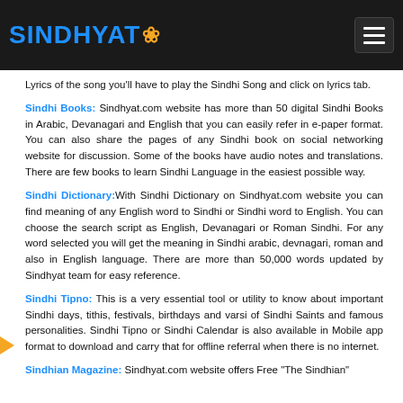SINDHYAT
Lyrics of the song you'll have to play the Sindhi Song and click on lyrics tab.
Sindhi Books: Sindhyat.com website has more than 50 digital Sindhi Books in Arabic, Devanagari and English that you can easily refer in e-paper format. You can also share the pages of any Sindhi book on social networking website for discussion. Some of the books have audio notes and translations. There are few books to learn Sindhi Language in the easiest possible way.
Sindhi Dictionary:With Sindhi Dictionary on Sindhyat.com website you can find meaning of any English word to Sindhi or Sindhi word to English. You can choose the search script as English, Devanagari or Roman Sindhi. For any word selected you will get the meaning in Sindhi arabic, devnagari, roman and also in English language. There are more than 50,000 words updated by Sindhyat team for easy reference.
Sindhi Tipno: This is a very essential tool or utility to know about important Sindhi days, tithis, festivals, birthdays and varsi of Sindhi Saints and famous personalities. Sindhi Tipno or Sindhi Calendar is also available in Mobile app format to download and carry that for offline referral when there is no internet.
Sindhian Magazine: Sindhyat.com website offers Free "The Sindhian"